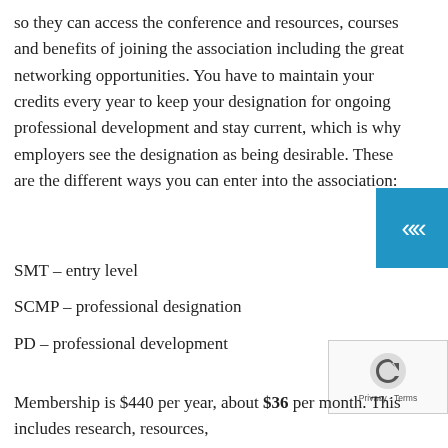so they can access the conference and resources, courses and benefits of joining the association including the great networking opportunities. You have to maintain your credits every year to keep your designation for ongoing professional development and stay current, which is why employers see the designation as being desirable. These are the different ways you can enter into the association:
SMT – entry level
SCMP – professional designation
PD – professional development
Membership is $440 per year, about $36 per month. This includes research, resources,